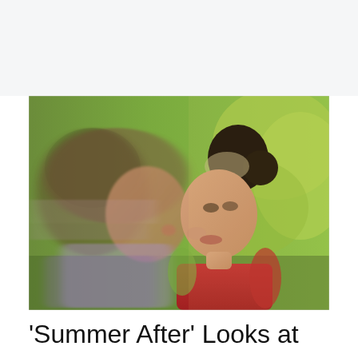[Figure (photo): Two young women leaning their faces close together, nearly touching noses, outdoors with green foliage in the background. The left figure has blurred/motion-blurred long brown hair and a light blue-purple top; the right figure wears a red sleeveless top and has dark hair pulled back in a bun. The image has a warm, sunlit feel.]
‘Summer After’ Looks at